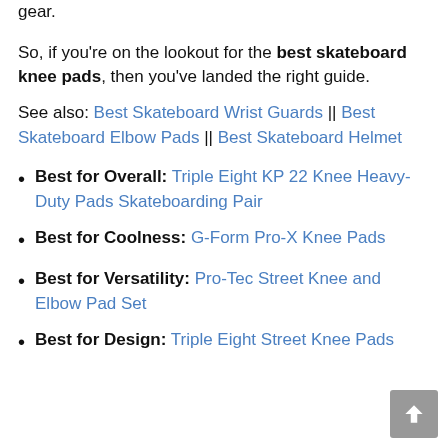gear.
So, if you're on the lookout for the best skateboard knee pads, then you've landed the right guide.
See also: Best Skateboard Wrist Guards || Best Skateboard Elbow Pads || Best Skateboard Helmet
Best for Overall: Triple Eight KP 22 Knee Heavy-Duty Pads Skateboarding Pair
Best for Coolness: G-Form Pro-X Knee Pads
Best for Versatility: Pro-Tec Street Knee and Elbow Pad Set
Best for Design: Triple Eight Street Knee Pads